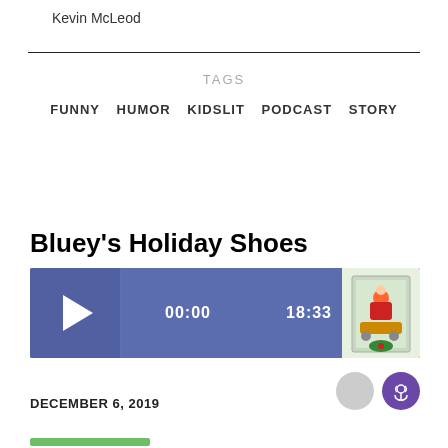Kevin McLeod
TAGS
FUNNY   HUMOR   KIDSLIT   PODCAST   STORY
Bluey's Holiday Shoes
[Figure (other): Podcast audio player widget showing play button, timestamp 00:00, duration 18:33, and a thumbnail image of a holiday-themed illustration with Santa Claus]
[Figure (other): Two circular icons: a light grey circle and a purple podcast icon circle]
DECEMBER 6, 2019